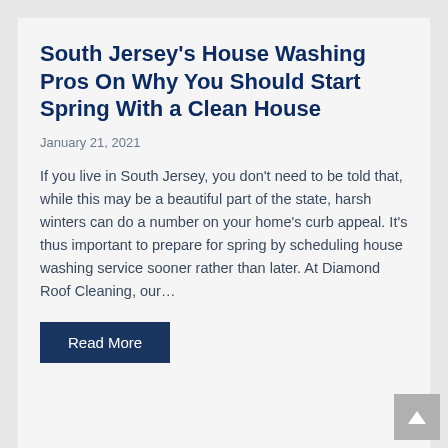South Jersey's House Washing Pros On Why You Should Start Spring With a Clean House
January 21, 2021
If you live in South Jersey, you don't need to be told that, while this may be a beautiful part of the state, harsh winters can do a number on your home's curb appeal. It's thus important to prepare for spring by scheduling house washing service sooner rather than later. At Diamond Roof Cleaning, our…
Read More